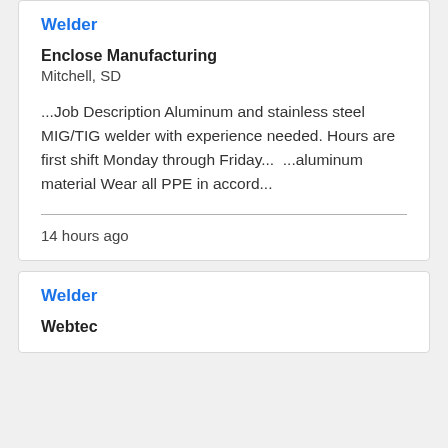Welder
Enclose Manufacturing
Mitchell, SD
...Job Description Aluminum and stainless steel MIG/TIG welder with experience needed. Hours are first shift Monday through Friday...  ...aluminum material Wear all PPE in accord...
14 hours ago
Welder
Webtec